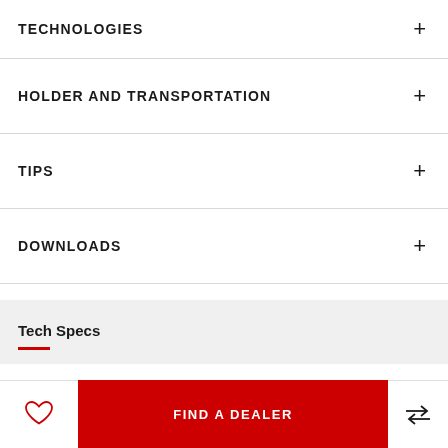TECHNOLOGIES
HOLDER AND TRANSPORTATION
TIPS
DOWNLOADS
Tech Specs
FIND A DEALER